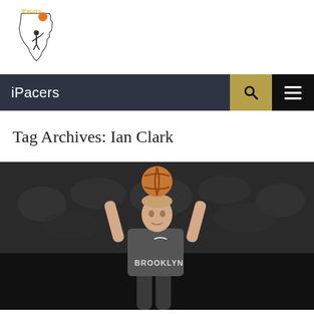[Figure (logo): iPacers logo showing Indiana state outline with basketball player silhouette and 'iPacers' text in yellow/orange]
iPacers
Tag Archives: Ian Clark
[Figure (photo): Basketball player wearing Brooklyn Nets jersey shooting a basketball, photographed in an arena with blurred crowd in background]